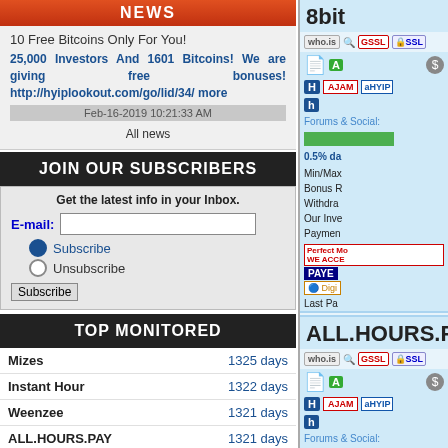NEWS
10 Free Bitcoins Only For You!
25,000 Investors And 1601 Bitcoins! We are giving free bonuses! http://hyiplookout.com/go/lid/34/ more
Feb-16-2019 10:21:33 AM
All news
JOIN OUR SUBSCRIBERS
Get the latest info in your Inbox.
E-mail: [input] Subscribe / Unsubscribe
TOP MONITORED
| Site | Days |
| --- | --- |
| Mizes | 1325 days |
| Instant Hour | 1322 days |
| Weenzee | 1321 days |
| ALL.HOURS.PAY | 1321 days |
| freebitcoin | 1304 days |
| Moon Cash | 1304 days |
| honeyminer | 1300 days |
8bit
Forums & Social:
0.5% da
Min/Max
Bonus R
Withdra
Our Inve
Paymen
Last Pa
ALL.HOURS.PAY
Forums & Social:
1.1%~1.
2.8%~5.
9.7%~1
Min/Max
Bonus R
Withdra
Our Inve